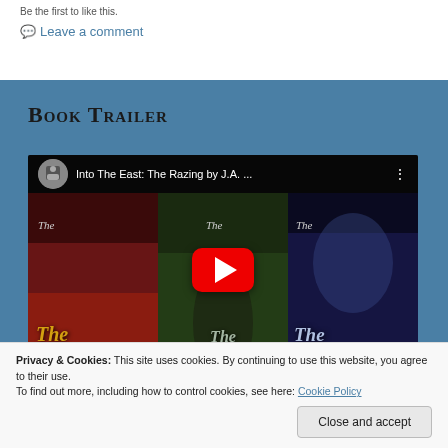Be the first to like this.
Leave a comment
Book Trailer
[Figure (screenshot): YouTube video thumbnail showing three book covers: The Razing, The Returning, and The Rising, titled 'Into The East: The Razing by J.A. ...' with a red YouTube play button overlay.]
Privacy & Cookies: This site uses cookies. By continuing to use this website, you agree to their use.
To find out more, including how to control cookies, see here: Cookie Policy
Close and accept